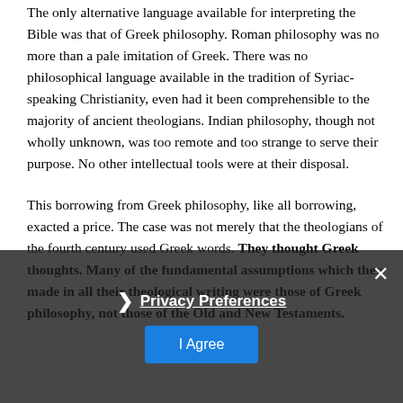The only alternative language available for interpreting the Bible was that of Greek philosophy. Roman philosophy was no more than a pale imitation of Greek. There was no philosophical language available in the tradition of Syriac-speaking Christianity, even had it been comprehensible to the majority of ancient theologians. Indian philosophy, though not wholly unknown, was too remote and too strange to serve their purpose. No other intellectual tools were at their disposal.
This borrowing from Greek philosophy, like all borrowing, exacted a price. The case was not merely that the theologians of the fourth century used Greek words. They thought Greek thoughts. Many of the fundamental assumptions which they made in all their theological writing were those of Greek philosophy, not those of the Old and New Testaments.